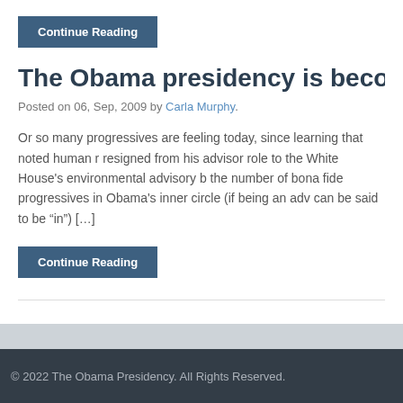Continue Reading
The Obama presidency is becoming a distr
Posted on 06, Sep, 2009 by Carla Murphy.
Or so many progressives are feeling today, since learning that noted human r resigned from his advisor role to the White House's environmental advisory b the number of bona fide progressives in Obama's inner circle (if being an adv can be said to be “in”) […]
Continue Reading
© 2022 The Obama Presidency. All Rights Reserved.